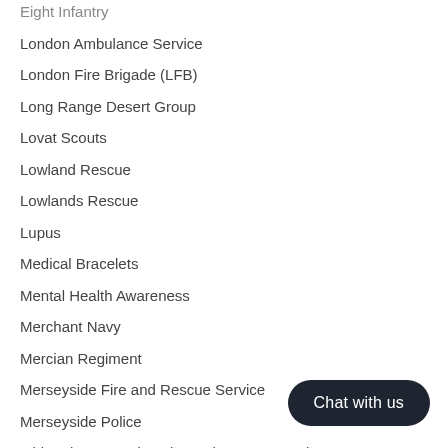Eight Infantry
London Ambulance Service
London Fire Brigade (LFB)
Long Range Desert Group
Lovat Scouts
Lowland Rescue
Lowlands Rescue
Lupus
Medical Bracelets
Mental Health Awareness
Merchant Navy
Mercian Regiment
Merseyside Fire and Rescue Service
Merseyside Police
Mid and West Wales Fire and Rescue Service
Military Provost Guard Service